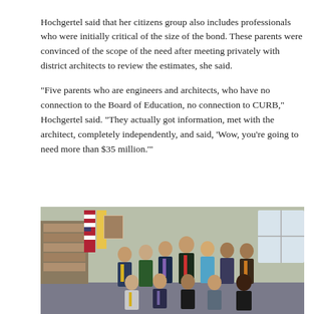Hochgertel said that her citizens group also includes professionals who were initially critical of the size of the bond. These parents were convinced of the scope of the need after meeting privately with district architects to review the estimates, she said.
“Five parents who are engineers and architects, who have no connection to the Board of Education, no connection to CURB,” Hochgertel said. “They actually got information, met with the architect, completely independently, and said, ‘Wow, you’re going to need more than $35 million.’”
[Figure (photo): Group photo of approximately 11 people — a mix of men and women — posed in two rows (standing and seated) in what appears to be a school or office setting with an American flag and a state flag visible on the left, bookshelves in the background, and windows on the right.]